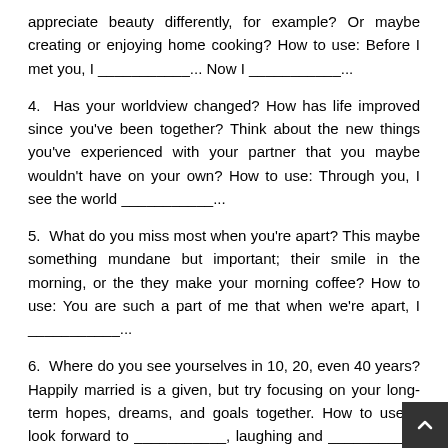appreciate beauty differently, for example? Or maybe creating or enjoying home cooking? How to use: Before I met you, I ___________... Now I ___________...
4. Has your worldview changed? How has life improved since you've been together? Think about the new things you've experienced with your partner that you maybe wouldn't have on your own? How to use: Through you, I see the world ___________...
5. What do you miss most when you're apart? This maybe something mundane but important; their smile in the morning, or the they make your morning coffee? How to use: You are such a part of me that when we're apart, I ___________...
6. Where do you see yourselves in 10, 20, even 40 years? Happily married is a given, but try focusing on your long-term hopes, dreams, and goals together. How to use: I look forward to ___________, laughing and ___________ as we ___________ together.
7. Is there a line from a song, film, or poem that sums up feelings? It's okay to use copyrighted material as long as it's